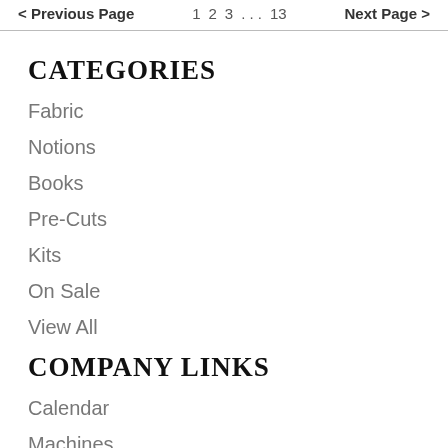< Previous Page   1  2  3 . . . 13   Next Page >
CATEGORIES
Fabric
Notions
Books
Pre-Cuts
Kits
On Sale
View All
COMPANY LINKS
Calendar
Machines